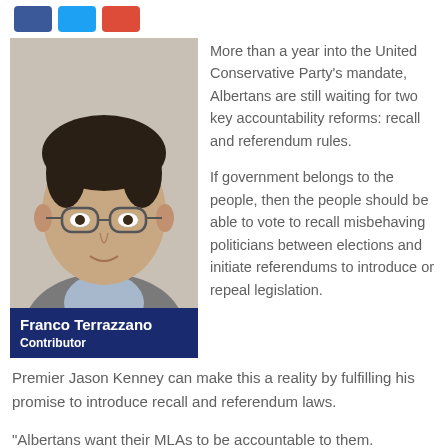[Figure (other): Three social media share buttons: Facebook (blue), Twitter (light blue), and Google+ (red)]
[Figure (photo): Headshot portrait of Franco Terrazzano, a young man with glasses, dark hair, wearing a light blue shirt and grey jacket. A dark navy name bar at the bottom reads 'Franco Terrazzano' and 'Contributor'.]
More than a year into the United Conservative Party's mandate, Albertans are still waiting for two key accountability reforms: recall and referendum rules.
If government belongs to the people, then the people should be able to vote to recall misbehaving politicians between elections and initiate referendums to introduce or repeal legislation.
Premier Jason Kenney can make this a reality by fulfilling his promise to introduce recall and referendum laws.
“Albertans want their MLAs to be accountable to them.